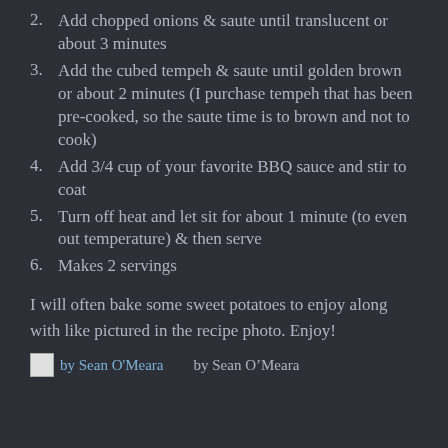2. Add chopped onions & saute until translucent or about 3 minutes
3. Add the cubed tempeh & saute until golden brown or about 2 minutes (I purchase tempeh that has been pre-cooked, so the saute time is to brown and not to cook)
4. Add 3/4 cup of your favorite BBQ sauce and stir to coat
5. Turn off heat and let sit for about 1 minute (to even out temperature) & then serve
6. Makes 2 servings
I will often bake some sweet potatoes to enjoy along with like pictured in the recipe photo. Enjoy!
by Sean O'Meara    by Sean O'Meara